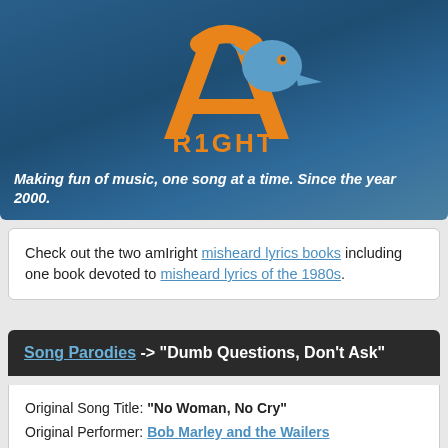[Figure (logo): AmIRight logo with orange stylized letter A and blue bird/penguin figure, with orange text 'R1GHT' below, on a dark blue gradient background]
Making fun of music, one song at a time. Since the year 2000.
Check out the two amIright misheard lyrics books including one book devoted to misheard lyrics of the 1980s.
Song Parodies -> "Dumb Questions, Don't Ask"
Original Song Title: "No Woman, No Cry"
Original Performer: Bob Marley and the Wailers